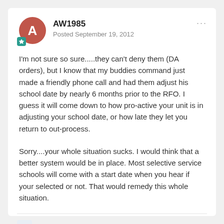AW1985 · Posted September 19, 2012
I'm not sure so sure.....they can't deny them (DA orders), but I know that my buddies command just made a friendly phone call and had them adjust his school date by nearly 6 months prior to the RFO. I guess it will come down to how pro-active your unit is in adjusting your school date, or how late they let you return to out-process.
Sorry....your whole situation sucks. I would think that a better system would be in place. Most selective service schools will come with a start date when you hear if your selected or not. That would remedy this whole situation.